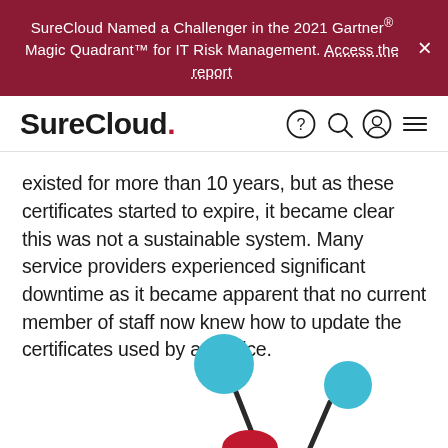SureCloud Named a Challenger in the 2021 Gartner® Magic Quadrant™ for IT Risk Management. Access the report ×
[Figure (logo): SureCloud logo with red period, plus navigation icons (help circle, search, user, hamburger menu)]
existed for more than 10 years, but as these certificates started to expire, it became clear this was not a sustainable system. Many service providers experienced significant downtime as it became apparent that no current member of staff now knew how to update the certificates used by a service.
[Figure (illustration): Partial illustration showing teal/blue circles on dark stems, with a red shape at the bottom — part of a network or certificate diagram]